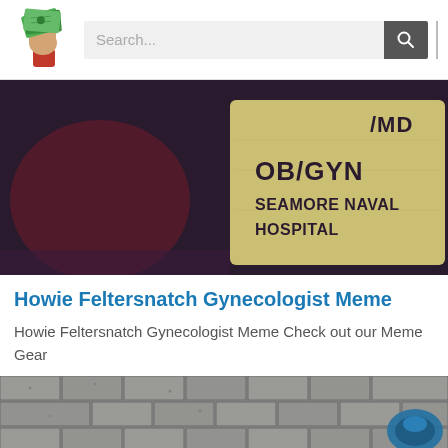Search...
[Figure (photo): Close-up photo of a name badge or placard showing text: OB/GYN SEAMORE NAVAL HOSPITAL, with partial text at top reading /MD]
Howie Feltersnatch Gynecologist Meme
Howie Feltersnatch Gynecologist Meme Check out our Meme Gear
[Figure (photo): Partial photo showing a brick wall with a blue object visible on the right side]